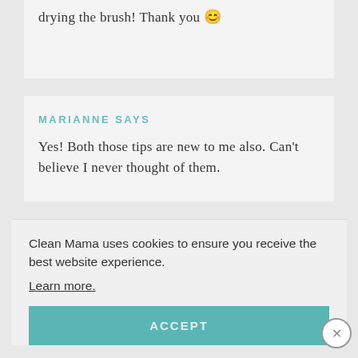drying the brush! Thank you 😊
MARIANNE SAYS
Yes! Both those tips are new to me also. Can't believe I never thought of them.
Clean Mama uses cookies to ensure you receive the best website experience.
Learn more.
ACCEPT